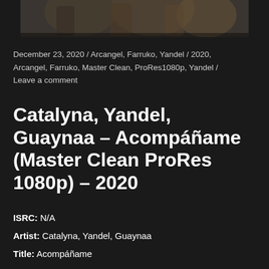[Figure (photo): Partial photo strip showing people in a dark venue setting, cropped at top of page]
December 23, 2020 / Arcangel, Farruko, Yandel / 2020, Arcangel, Farruko, Master Clean, ProRes1080p, Yandel / Leave a comment
Catalyna, Yandel, Guaynaa – Acompáñame (Master Clean ProRes 1080p) – 2020
ISRC: N/A
Artist: Catalyna, Yandel, Guaynaa
Title: Acompáñame